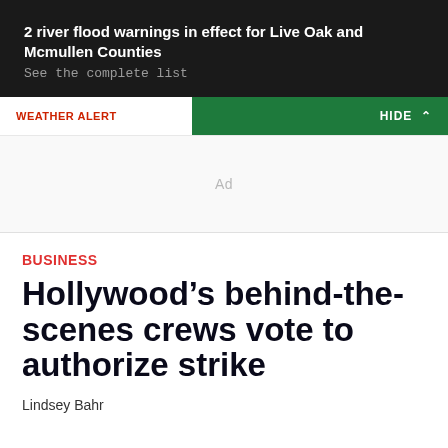2 river flood warnings in effect for Live Oak and Mcmullen Counties
See the complete list
WEATHER ALERT        HIDE ^
[Figure (other): Ad placeholder box]
BUSINESS
Hollywood’s behind-the-scenes crews vote to authorize strike
Lindsey Bahr